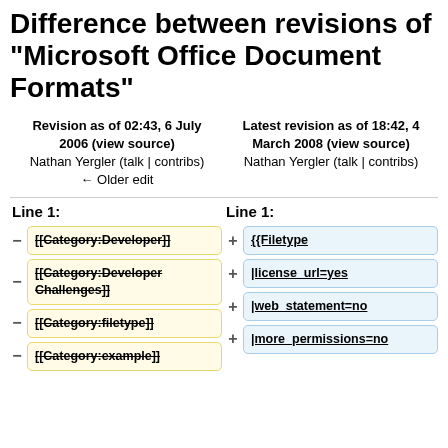Difference between revisions of "Microsoft Office Document Formats"
Revision as of 02:43, 6 July 2006 (view source)
Nathan Yergler (talk | contribs)
← Older edit
Latest revision as of 18:42, 4 March 2008 (view source)
Nathan Yergler (talk | contribs)
Line 1:
Line 1:
[[Category:Developer]]
{{Filetype
[[Category:Developer Challenges]]
|license_url=yes
[[Category:filetype]]
|web_statement=no
[[Category:example]]
|more_permissions=no